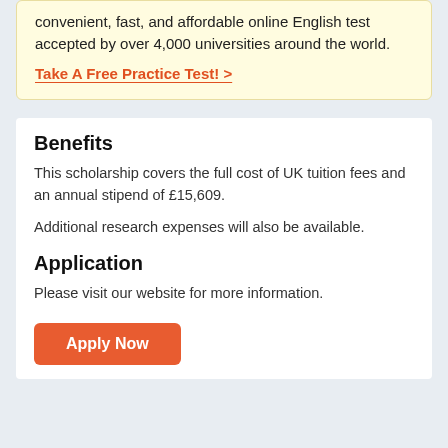convenient, fast, and affordable online English test accepted by over 4,000 universities around the world.
Take A Free Practice Test! >
Benefits
This scholarship covers the full cost of UK tuition fees and an annual stipend of £15,609.
Additional research expenses will also be available.
Application
Please visit our website for more information.
Apply Now